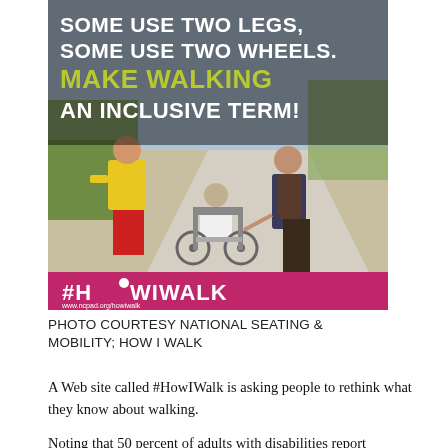[Figure (photo): A photo campaign image showing three people on a walking path: a person in a yellow shirt and red shorts, a person in a wheelchair in the center, and a person with a large backpack. Text overlay reads 'SOME USE TWO LEGS, SOME USE TWO WHEELS. MAKE WALKING AN INCLUSIVE TERM!' with a pink/magenta banner at the bottom showing '#HOWIWALK www.ncpad.org/howiwalk']
PHOTO COURTESY NATIONAL SEATING & MOBILITY; HOW I WALK
A Web site called #HowIWalk is asking people to rethink what they know about walking.
Noting that 50 percent of adults with disabilities report...